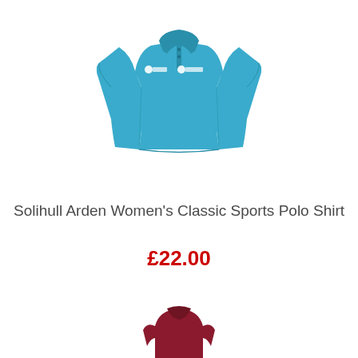[Figure (photo): A women's classic sports polo shirt in bright teal/blue color with white logos on the chest, shown on an invisible mannequin, short sleeves, collar with buttons.]
Solihull Arden Women's Classic Sports Polo Shirt
£22.00
[Figure (photo): Partial view of a second product — a dark red/maroon item, only the top portion visible at the bottom of the page.]